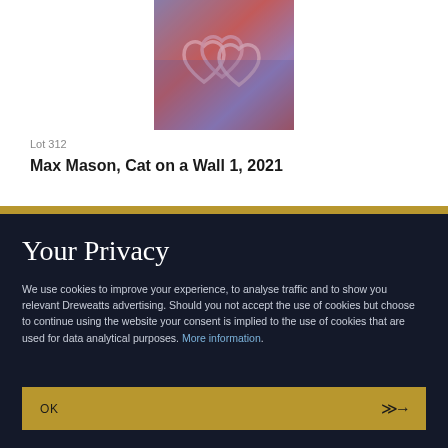[Figure (photo): Artwork photo showing graffiti-style heart shapes in blue, red, and pink tones on a wall]
Lot 312
Max Mason, Cat on a Wall 1, 2021
Your Privacy
We use cookies to improve your experience, to analyse traffic and to show you relevant Dreweatts advertising. Should you not accept the use of cookies but choose to continue using the website your consent is implied to the use of cookies that are used for data analytical purposes. More information.